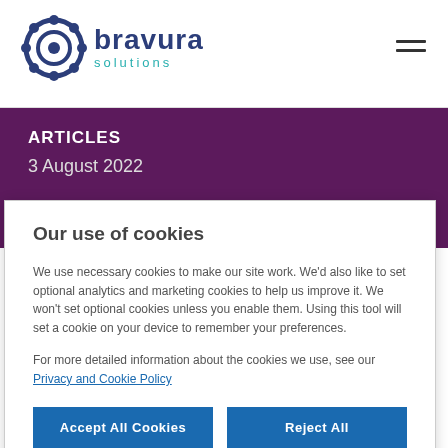[Figure (logo): Bravura Solutions logo with gear icon and text 'bravura solutions']
ARTICLES
3 August 2022
Our use of cookies
We use necessary cookies to make our site work. We'd also like to set optional analytics and marketing cookies to help us improve it. We won't set optional cookies unless you enable them. Using this tool will set a cookie on your device to remember your preferences.
For more detailed information about the cookies we use, see our Privacy and Cookie Policy
Accept All Cookies | Reject All | Cookies Settings